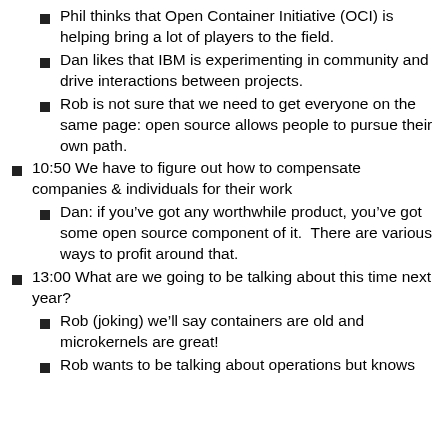Phil thinks that Open Container Initiative (OCI) is helping bring a lot of players to the field.
Dan likes that IBM is experimenting in community and drive interactions between projects.
Rob is not sure that we need to get everyone on the same page: open source allows people to pursue their own path.
10:50 We have to figure out how to compensate companies & individuals for their work
Dan: if you’ve got any worthwhile product, you’ve got some open source component of it.  There are various ways to profit around that.
13:00 What are we going to be talking about this time next year?
Rob (joking) we’ll say containers are old and microkernels are great!
Rob wants to be talking about operations but knows